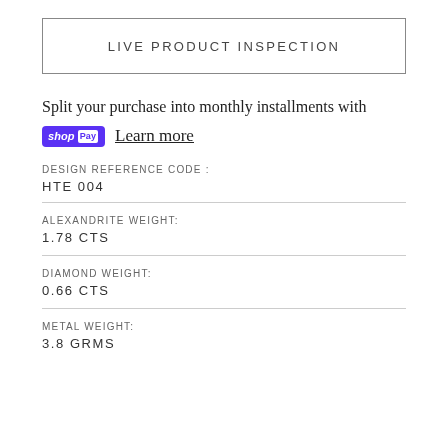LIVE PRODUCT INSPECTION
Split your purchase into monthly installments with shop Pay  Learn more
DESIGN REFERENCE CODE :
HTE 004
ALEXANDRITE WEIGHT:
1.78 CTS
DIAMOND WEIGHT:
0.66 CTS
METAL WEIGHT:
3.8 GRMS